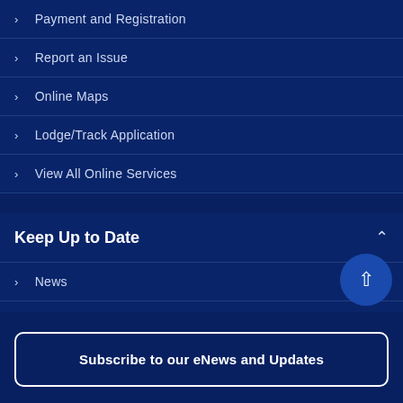> Payment and Registration
> Report an Issue
> Online Maps
> Lodge/Track Application
> View All Online Services
Keep Up to Date
> News
Subscribe to our eNews and Updates